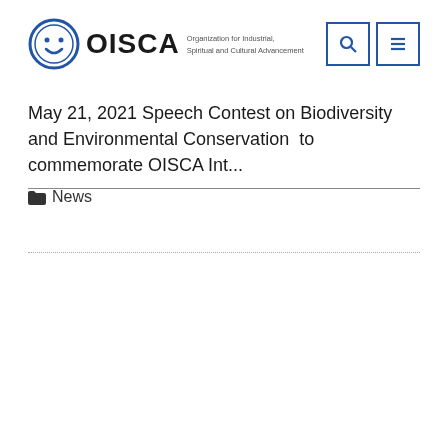OISCA — Organization for Industrial, Spiritual and Cultural Advancement
May 21, 2021 Speech Contest on Biodiversity and Environmental Conservation  to commemorate OISCA Int...
News